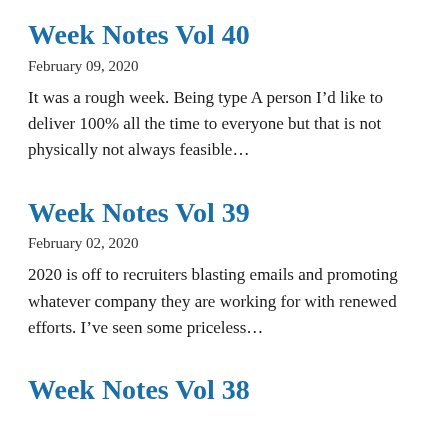Week Notes Vol 40
February 09, 2020
It was a rough week. Being type A person I’d like to deliver 100% all the time to everyone but that is not physically not always feasible…
Week Notes Vol 39
February 02, 2020
2020 is off to recruiters blasting emails and promoting whatever company they are working for with renewed efforts. I’ve seen some priceless…
Week Notes Vol 38